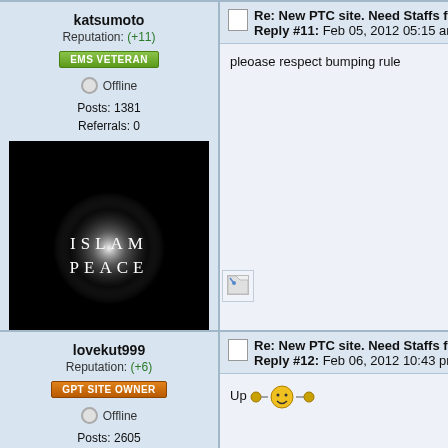katsumoto
Reputation: (+11)
EMS VETERAN
Offline
Posts: 1381
Referrals: 0
[Figure (photo): Avatar image with dark background showing 'ISLAM PEACE' text]
Re: New PTC site. Need Staffs for Forums S
Reply #11: Feb 05, 2012 05:15 am
pleoase respect bumping rule
[Figure (photo): Broken/missing image placeholder (signature)]
lovekut999
Reputation: (+6)
GPT SITE OWNER
Offline
Posts: 2605
Referrals: 0
[Figure (photo): Partial avatar image showing a logo with stylized letters]
Re: New PTC site. Need Staffs for Forums S
Reply #12: Feb 06, 2012 10:43 pm
Up 🎉😄🎉